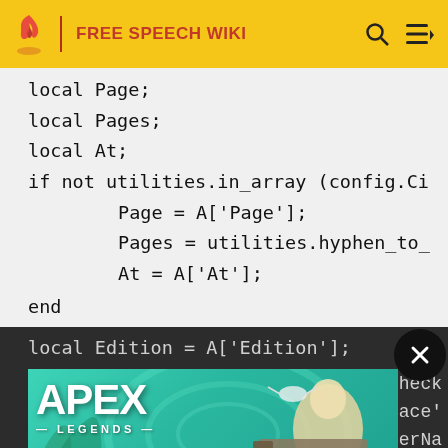FREE SPEECH WIKI
local Page;
local Pages;
local At;
if not utilities.in_array (config.Ci
        Page = A['Page'];
        Pages = utilities.hyphen_to_
        At = A['At'];
end
local Edition = A['Edition'];
[Figure (screenshot): Apex Legends advertisement banner with teal background showing a character with a sniper rifle and the Apex Legends logo]
check
lace'
herNa
local PublisherName =